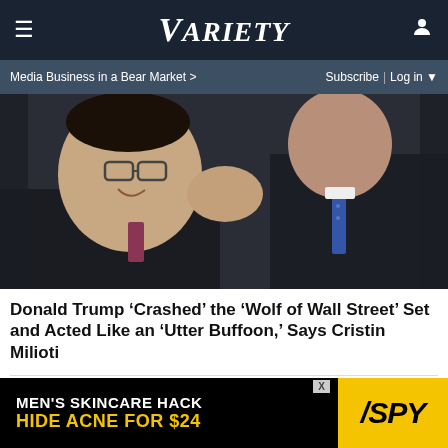Variety
Media Business in a Bear Market >    Subscribe | Log in
[Figure (photo): Two men in suits embracing or grabbing each other, one wearing glasses, close-up]
Donald Trump ‘Crashed’ the ‘Wolf of Wall Street’ Set and Acted Like an ‘Utter Buffoon,’ Says Cristin Milioti
[Figure (photo): Person with brown hair, partial view, pink background]
MEN’S SKINCARE HACK HIDE ACNE FOR $24 / SPY